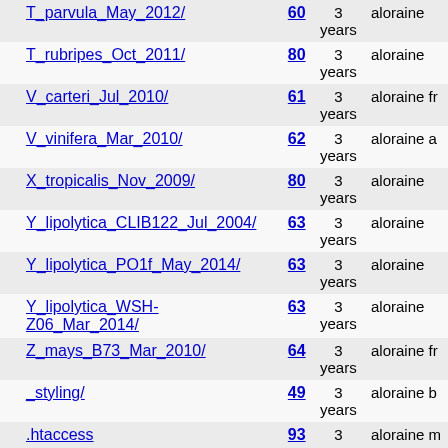| Name | Rev | Age | Author |
| --- | --- | --- | --- |
| T_parvula_May_2012/ | 60 | 3 years | aloraine |
| T_rubripes_Oct_2011/ | 80 | 3 years | aloraine |
| V_carteri_Jul_2010/ | 61 | 3 years | aloraine fr |
| V_vinifera_Mar_2010/ | 62 | 3 years | aloraine a |
| X_tropicalis_Nov_2009/ | 80 | 3 years | aloraine |
| Y_lipolytica_CLIB122_Jul_2004/ | 63 | 3 years | aloraine |
| Y_lipolytica_PO1f_May_2014/ | 63 | 3 years | aloraine |
| Y_lipolytica_WSH-Z06_Mar_2014/ | 63 | 3 years | aloraine |
| Z_mays_B73_Mar_2010/ | 64 | 3 years | aloraine fr |
| _styling/ | 49 | 3 years | aloraine b |
| .htaccess | 93 | 3 years | aloraine m |